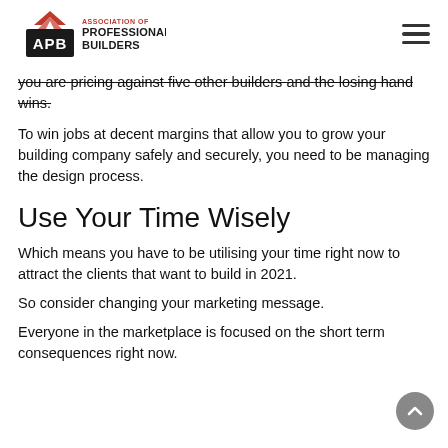Association of Professional Builders (APB) logo and navigation menu
you are pricing against five other builders and the losing hand wins.
To win jobs at decent margins that allow you to grow your building company safely and securely, you need to be managing the design process.
Use Your Time Wisely
Which means you have to be utilising your time right now to attract the clients that want to build in 2021.
So consider changing your marketing message.
Everyone in the marketplace is focused on the short term consequences right now.